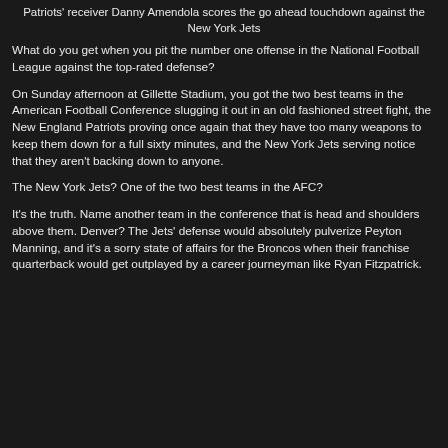Patriots' receiver Danny Amendola scores the go ahead touchdown against the New York Jets
What do you get when you pit the number one offense in the National Football League against the top-rated defense?
On Sunday afternoon at Gillette Stadium, you got the two best teams in the American Football Conference slugging it out in an old fashioned street fight, the New England Patriots proving once again that they have too many weapons to keep them down for a full sixty minutes, and the New York Jets serving notice that they aren't backing down to anyone.
The New York Jets? One of the two best teams in the AFC?
It's the truth. Name another team in the conference that is head and shoulders above them. Denver? The Jets' defense would absolutely pulverize Peyton Manning, and it's a sorry state of affairs for the Broncos when their franchise quarterback would get outplayed by a career journeyman like Ryan Fitzpatrick.